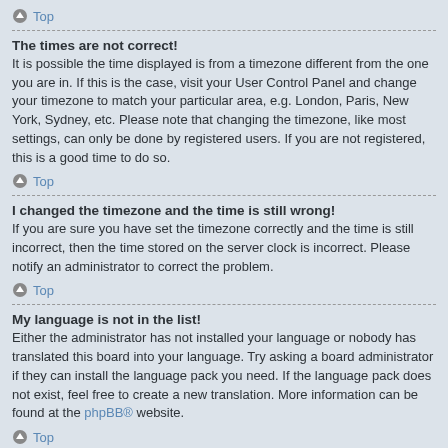Top
The times are not correct!
It is possible the time displayed is from a timezone different from the one you are in. If this is the case, visit your User Control Panel and change your timezone to match your particular area, e.g. London, Paris, New York, Sydney, etc. Please note that changing the timezone, like most settings, can only be done by registered users. If you are not registered, this is a good time to do so.
Top
I changed the timezone and the time is still wrong!
If you are sure you have set the timezone correctly and the time is still incorrect, then the time stored on the server clock is incorrect. Please notify an administrator to correct the problem.
Top
My language is not in the list!
Either the administrator has not installed your language or nobody has translated this board into your language. Try asking a board administrator if they can install the language pack you need. If the language pack does not exist, feel free to create a new translation. More information can be found at the phpBB® website.
Top